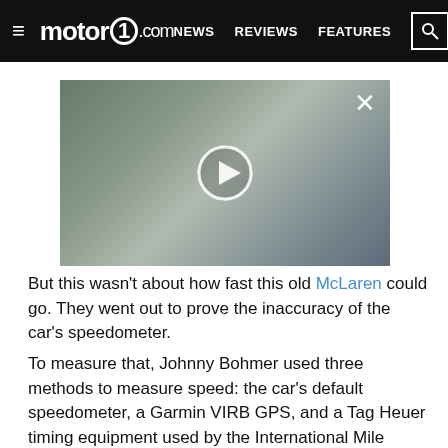≡  motor1.com   NEWS   REVIEWS   FEATURES   🔍
[Figure (screenshot): Video thumbnail showing a car's dashboard/cockpit interior with a play button overlay and a close (X) button in the top right corner]
But this wasn't about how fast this old McLaren could go. They went out to prove the inaccuracy of the car's speedometer.
To measure that, Johnny Bohmer used three methods to measure speed: the car's default speedometer, a Garmin VIRB GPS, and a Tag Heuer timing equipment used by the International Mile Racing Association